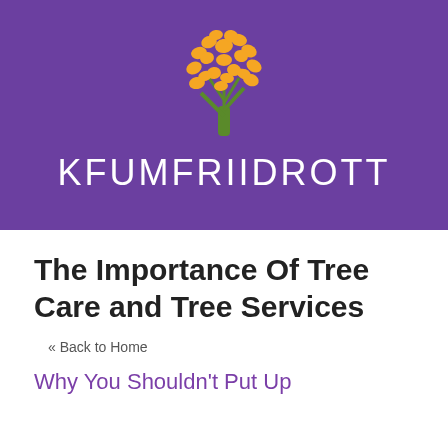[Figure (logo): KFUMFRIIDROTT logo — orange tree with round leafy canopy on a green trunk, set on a purple banner background, with white text 'KFUMFRIIDROTT' below]
The Importance Of Tree Care and Tree Services
« Back to Home
Why You Shouldn't Put Up